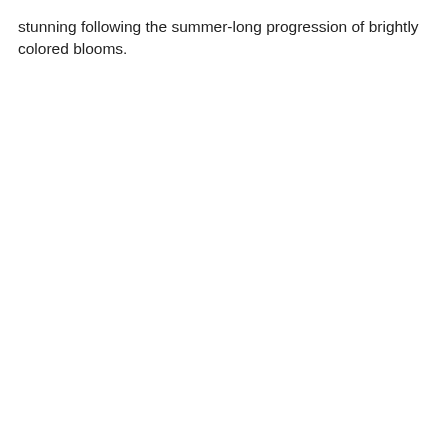stunning following the summer-long progression of brightly colored blooms.